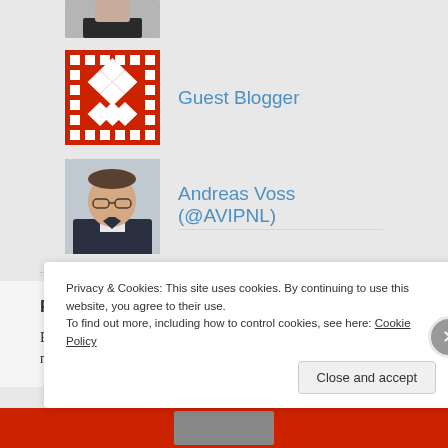[Figure (photo): Partial photo of a person at the top, cropped]
[Figure (logo): Guest Blogger avatar — red geometric/diamond pattern pixel art]
Guest Blogger
[Figure (photo): Photo of Andreas Voss, a man wearing glasses]
Andreas Voss (@AVIPNL)
FOLLOW BLOG VIA EMAIL
Enter your email address to follow this blog and receive notifications of new posts by email.
Privacy & Cookies: This site uses cookies. By continuing to use this website, you agree to their use.
To find out more, including how to control cookies, see here: Cookie Policy
Close and accept